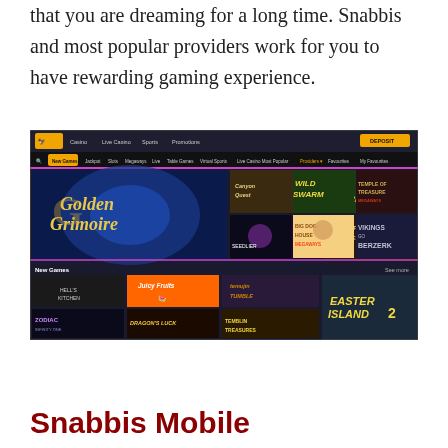Progressive Jackpots will also help you to get the win that you are dreaming for a long time. Snabbis and most popular providers work for you to have rewarding gaming experience.
[Figure (screenshot): Screenshot of the Snabbis online casino website showing the game lobby with slot game thumbnails including Golden Grimoire, Canyon Quest, Wild Swarm, Temple of Treasure, Seedlier, Big Dog House Megaways, Vikings Go Berzerk, and new games section with Hell's Kitchen, Juicy Fruits, Temujin Tumble, Easter Island 2, Zodiac Infinity One, Dragon's Luck, Temblin Treasures.]
Snabbis Mobile